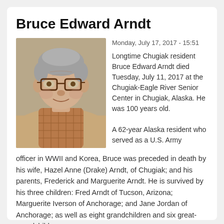Bruce Edward Arndt
[Figure (photo): Black and white photograph of Bruce Edward Arndt, an elderly man wearing large-framed glasses and a plaid shirt, reclining in a chair.]
Monday, July 17, 2017 - 15:51
Longtime Chugiak resident Bruce Edward Arndt died Tuesday, July 11, 2017 at the Chugiak-Eagle River Senior Center in Chugiak, Alaska. He was 100 years old.

A 62-year Alaska resident who served as a U.S. Army officer in WWII and Korea, Bruce was preceded in death by his wife, Hazel Anne (Drake) Arndt, of Chugiak; and his parents, Frederick and Marguerite Arndt. He is survived by his three children: Fred Arndt of Tucson, Arizona; Marguerite Iverson of Anchorage; and Jane Jordan of Anchorage; as well as eight grandchildren and six great-grandchildren.